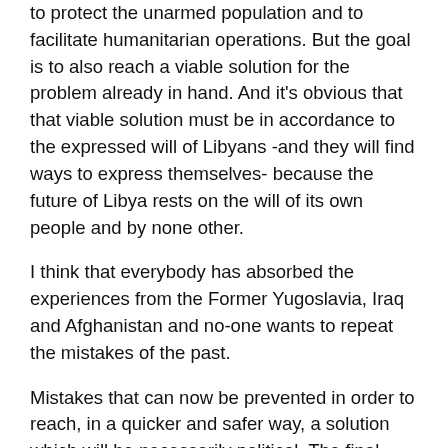to protect the unarmed population and to facilitate humanitarian operations. But the goal is to also reach a viable solution for the problem already in hand. And it's obvious that that viable solution must be in accordance to the expressed will of Libyans -and they will find ways to express themselves- because the future of Libya rests on the will of its own people and by none other.
I think that everybody has absorbed the experiences from the Former Yugoslavia, Iraq and Afghanistan and no-one wants to repeat the mistakes of the past.
Mistakes that can now be prevented in order to reach, in a quicker and safer way, a solution which will be necessarily political. The final solution is never military.
Q: So it is clear that the humanitarian aspect of the UN Security Council Resolution calls the...